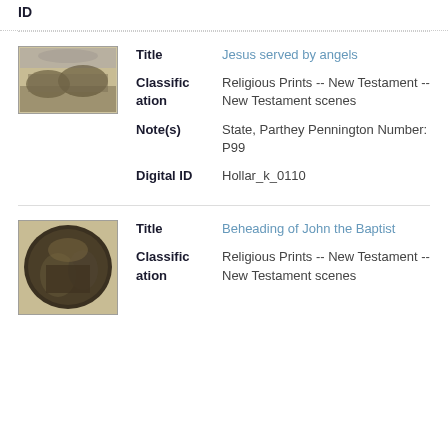ID
[Figure (photo): Small engraving thumbnail showing Jesus served by angels scene with multiple figures]
Title: Jesus served by angels
Classification: Religious Prints -- New Testament -- New Testament scenes
Note(s): State, Parthey Pennington Number: P99
Digital ID: Hollar_k_0110
[Figure (photo): Small oval engraving thumbnail showing Beheading of John the Baptist scene with multiple figures]
Title: Beheading of John the Baptist
Classification: Religious Prints -- New Testament -- New Testament scenes